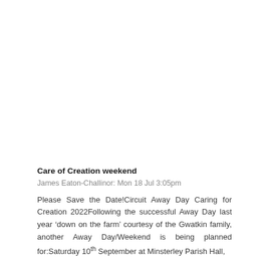Care of Creation weekend
James Eaton-Challinor: Mon 18 Jul 3:05pm
Please Save the Date!Circuit Away Day Caring for Creation 2022Following the successful Away Day last year ‘down on the farm’ courtesy of the Gwatkin family, another Away Day/Weekend is being planned for:Saturday 10th September at Minsterley Parish Hall,